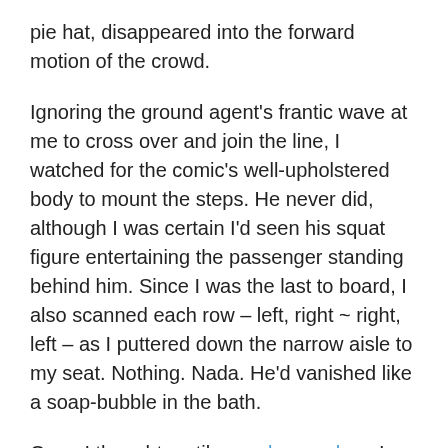pie hat, disappeared into the forward motion of the crowd.
Ignoring the ground agent's frantic wave at me to cross over and join the line, I watched for the comic's well-upholstered body to mount the steps. He never did, although I was certain I'd seen his squat figure entertaining the passenger standing behind him. Since I was the last to board, I also scanned each row – left, right ~ right, left – as I puttered down the narrow aisle to my seat. Nothing. Nada. He'd vanished like a soap-bubble in the bath.
Or so I thought, until – wocka, wocka – I spied him in Heathrow's Terminal 5. This time relaxing on the same woman's lap whose back he'd hung from in the Edinburgh dawn's early light.